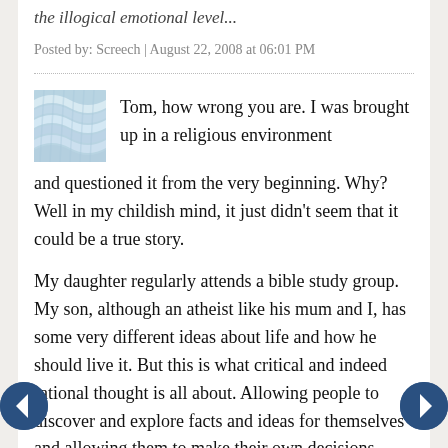the illogical emotional level...
Posted by: Screech | August 22, 2008 at 06:01 PM
[Figure (illustration): Blue and white wavy lines avatar icon]
Tom, how wrong you are. I was brought up in a religious environment and questioned it from the very beginning. Why? Well in my childish mind, it just didn't seem that it could be a true story.
My daughter regularly attends a bible study group. My son, although an atheist like his mum and I, has some very different ideas about life and how he should live it. But this is what critical and indeed rational thought is all about. Allowing people to discover and explore facts and ideas for themselves and allowing them to make their own decisions